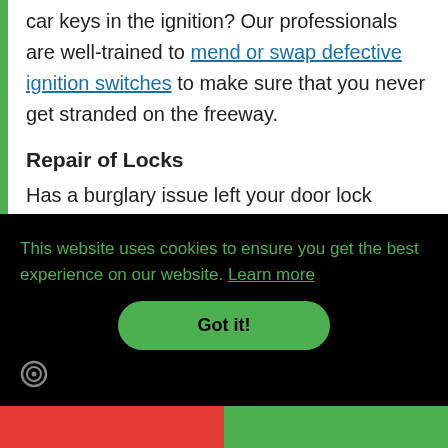car keys in the ignition? Our professionals are well-trained to mend or swap defective ignition switches to make sure that you never get stranded on the freeway.
Repair of Locks
Has a burglary issue left your door lock ruined? Fear not. We will fix, replace, or
This website uses cookies to ensure you get the best experience on our website. Learn more
Got it!